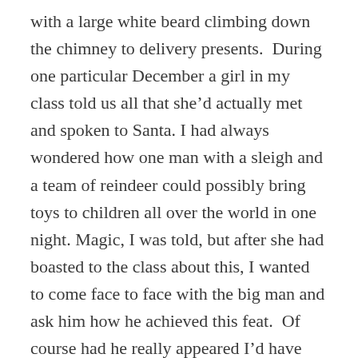with a large white beard climbing down the chimney to delivery presents.  During one particular December a girl in my class told us all that she'd actually met and spoken to Santa. I had always wondered how one man with a sleigh and a team of reindeer could possibly bring toys to children all over the world in one night. Magic, I was told, but after she had boasted to the class about this, I wanted to come face to face with the big man and ask him how he achieved this feat.  Of course had he really appeared I'd have probably been too scared to say anything, and hidden under the bedclothes instead! On this particular Christmas Eve, however, I stayed awake only – yes you've guessed – to end up being massively disappointed when humans crept into my room